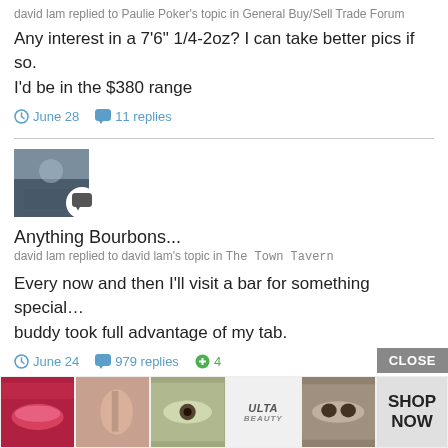david lam replied to Paulie Poker's topic in General Buy/Sell Trade Forum
Any interest in a 7'6" 1/4-2oz? I can take better pics if so. I'd be in the $380 range
June 28   11 replies
[Figure (photo): Avatar thumbnail with chat bubble icon overlay]
Anything Bourbons...
david lam replied to david lam's topic in The Town Tavern
Every now and then I'll visit a bar for something special… buddy took full advantage of my tab.
June 24   979 replies   4
[Figure (photo): Avatar thumbnail with chat bubble icon overlay (partially visible)]
Anyth...
david...
[Figure (photo): Ulta beauty advertisement strip showing makeup images and SHOP NOW button]